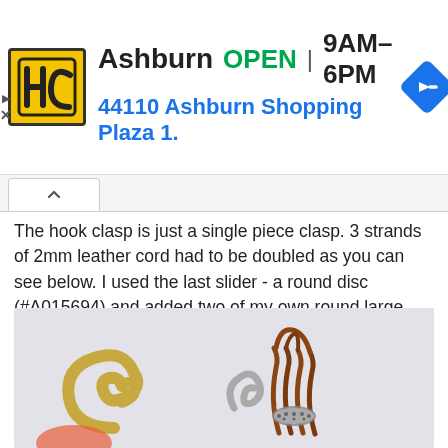[Figure (screenshot): Ad banner: HC logo in yellow square, 'Ashburn OPEN 9AM-6PM' in bold, '44110 Ashburn Shopping Plaza 1.' in blue, blue direction arrow diamond icon on right]
The hook clasp is just a single piece clasp. 3 strands of 2mm leather cord had to be doubled as you can see below. I used the last slider - a round disc (#A015694) and added two of my own round large hole rondelle metal beads to help keep the leather strands together.
[Figure (photo): Close-up photo of a hook clasp jewelry component showing a large gold hook clasp, a smaller decorative hook, brown leather cord doubled over, and a metal rondelle bead, on a light grey background]